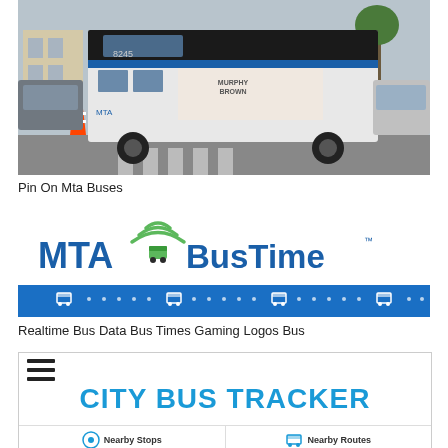[Figure (photo): An MTA city bus number 8245 with a 'Murphy Brown' campaign advertisement on its side, stopped at an intersection with orange traffic cones and other vehicles visible]
Pin On Mta Buses
[Figure (logo): MTA BusTime logo with green WiFi arc symbol above a bus icon, followed by a blue banner with bus icons and dots]
Realtime Bus Data Bus Times Gaming Logos Bus
[Figure (screenshot): City Bus Tracker app screenshot showing hamburger menu icon, 'CITY BUS TRACKER' title in blue, and two buttons: Nearby Stops and Nearby Routes]